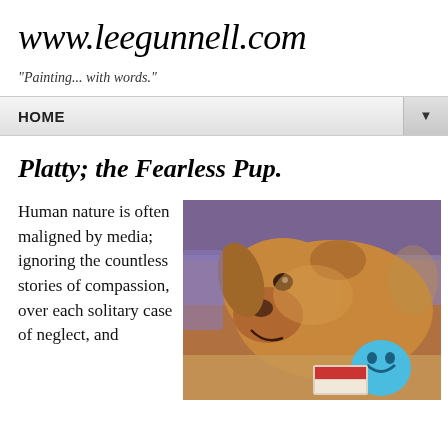www.leegunnell.com
"Painting... with words."
HOME
Platty; the Fearless Pup.
Human nature is often maligned by media; ignoring the countless stories of compassion, over each solitary case of neglect, and
[Figure (photo): A golden/brown dog lying on a couch with a blue smiley-face toy and some books/cards in front of it]